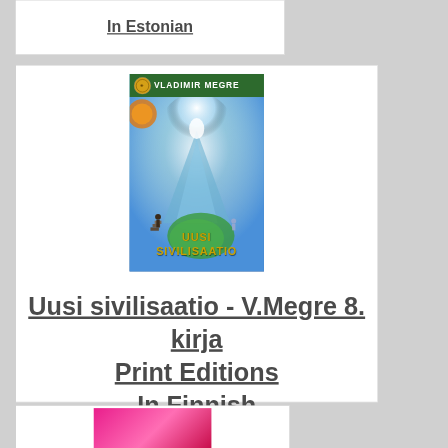In Estonian
[Figure (illustration): Book cover: Uusi sivilisaatio by Vladimir Megre, 8th book. Cover shows a mystical mountain landscape with a glowing figure, green nature scene, and a person on steps. Dark green header bar with author name VLADIMIR MEGRE, title UUSI SIVILISAATIO at bottom in gold letters.]
Uusi sivilisaatio - V.Megre 8. kirja
Print Editions
In Finnish
[Figure (illustration): Partial view of a pink/magenta geometric book cover at bottom of page.]